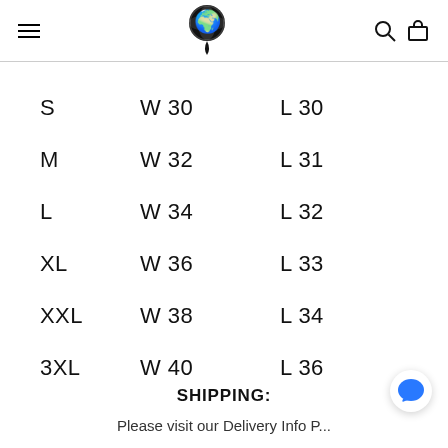Navigation header with hamburger menu, globe logo, search and bag icons
| S | W 30 | L 30 |
| M | W 32 | L 31 |
| L | W 34 | L 32 |
| XL | W 36 | L 33 |
| XXL | W 38 | L 34 |
| 3XL | W 40 | L 36 |
SHIPPING:
Please visit our Delivery Info Page